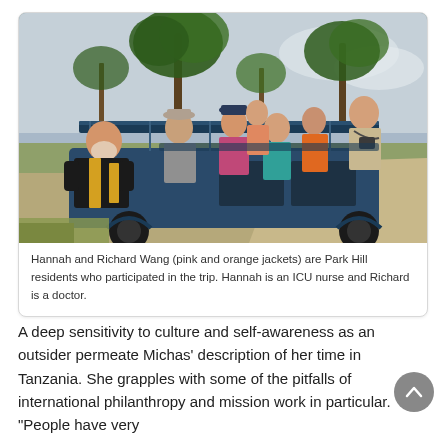[Figure (photo): Group of tourists standing up through the open roof of a blue safari vehicle in Tanzania. Trees and savanna landscape visible in background. Man in black and yellow jacket leans out on the left; several others (including women in pink and orange jackets) visible in the open top.]
Hannah and Richard Wang (pink and orange jackets) are Park Hill residents who participated in the trip. Hannah is an ICU nurse and Richard is a doctor.
A deep sensitivity to culture and self-awareness as an outsider permeate Michas' description of her time in Tanzania. She grapples with some of the pitfalls of international philanthropy and mission work in particular. "People have very